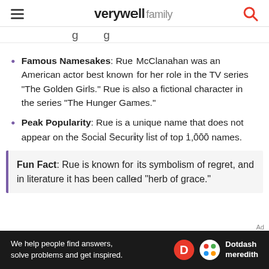verywell family
Famous Namesakes: Rue McClanahan was an American actor best known for her role in the TV series "The Golden Girls." Rue is also a fictional character in the series "The Hunger Games."
Peak Popularity: Rue is a unique name that does not appear on the Social Security list of top 1,000 names.
Fun Fact: Rue is known for its symbolism of regret, and in literature it has been called "herb of grace."
We help people find answers, solve problems and get inspired. Dotdash meredith